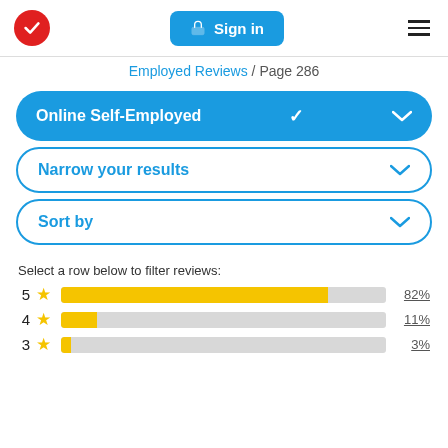Sign in | menu
Employed Reviews / Page 286
Online Self-Employed
Narrow your results
Sort by
Select a row below to filter reviews:
[Figure (bar-chart): Star rating distribution]